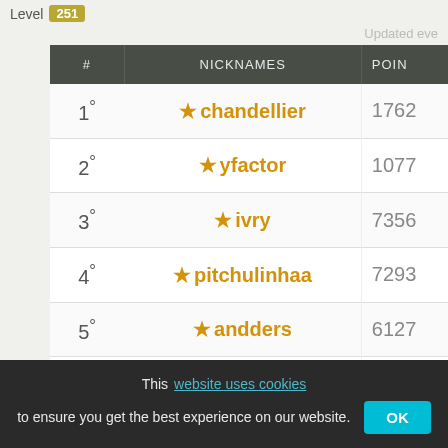Level 251
Updated eve
| # | NICKNAMES | POIN |
| --- | --- | --- |
| 1° | ★chandellier | 1762 |
| 2° | ★yfactor | 1077 |
| 3° | ★ivry | 7356 |
| 4° | ★pitchulinhaa | 7293 |
| 5° | ★andders | 6127 |
| 6° | ★piece854 | 5898 |
This website uses cookies to ensure you get the best experience on our website. OK